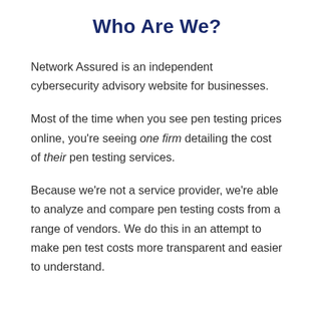Who Are We?
Network Assured is an independent cybersecurity advisory website for businesses.
Most of the time when you see pen testing prices online, you're seeing one firm detailing the cost of their pen testing services.
Because we're not a service provider, we're able to analyze and compare pen testing costs from a range of vendors. We do this in an attempt to make pen test costs more transparent and easier to understand.